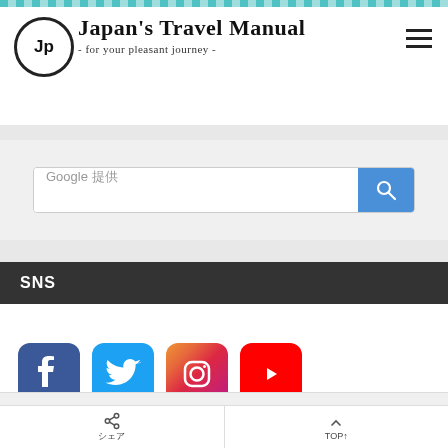Japan's Travel Manual - for your pleasant journey -
[Figure (screenshot): Google search bar with Japanese text 提供 and blue search button]
SNS
[Figure (infographic): Four social media icons: Facebook, Twitter, Instagram, YouTube]
シェア　TOP↑